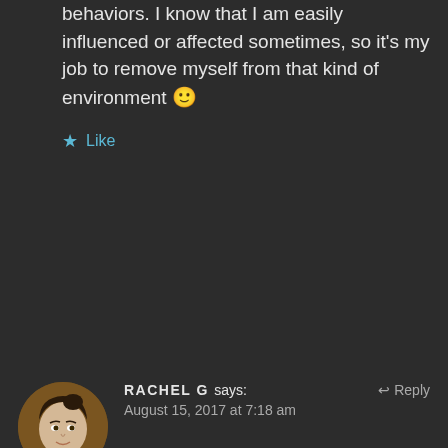behaviors. I know that I am easily influenced or affected sometimes, so it's my job to remove myself from that kind of environment 🙂
★ Like
[Figure (photo): Circular avatar photo of Rachel G, a woman with dark hair against a warm golden-brown background]
RACHEL G says: ↩ Reply
August 15, 2017 at 7:18 am
This is so entirely true for me. You have to know yourself. I can't watch overly gory or creepy shows, either. And certain types of storylines hit me so deeply–after seeing the Hunger Games I literally had nightmares for months. I enjoyed watching House with Angel